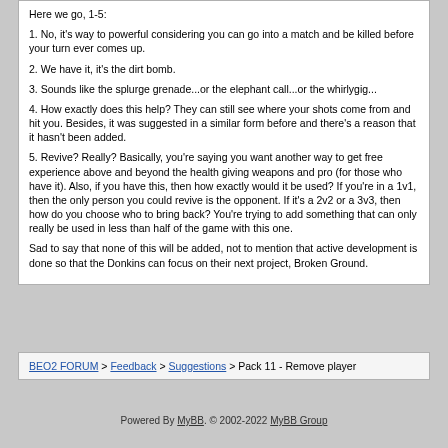Here we go, 1-5:
1. No, it's way to powerful considering you can go into a match and be killed before your turn ever comes up.
2. We have it, it's the dirt bomb.
3. Sounds like the splurge grenade...or the elephant call...or the whirlygig...
4. How exactly does this help? They can still see where your shots come from and hit you. Besides, it was suggested in a similar form before and there's a reason that it hasn't been added.
5. Revive? Really? Basically, you're saying you want another way to get free experience above and beyond the health giving weapons and pro (for those who have it). Also, if you have this, then how exactly would it be used? If you're in a 1v1, then the only person you could revive is the opponent. If it's a 2v2 or a 3v3, then how do you choose who to bring back? You're trying to add something that can only really be used in less than half of the game with this one.
Sad to say that none of this will be added, not to mention that active development is done so that the Donkins can focus on their next project, Broken Ground.
BEO2 FORUM > Feedback > Suggestions > Pack 11 - Remove player
Powered By MyBB. © 2002-2022 MyBB Group